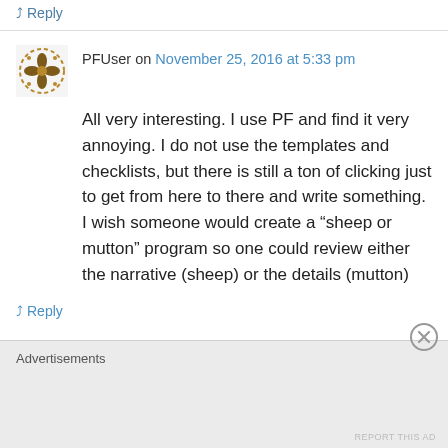↳ Reply
PFUser on November 25, 2016 at 5:33 pm
All very interesting. I use PF and find it very annoying. I do not use the templates and checklists, but there is still a ton of clicking just to get from here to there and write something. I wish someone would create a “sheep or mutton” program so one could review either the narrative (sheep) or the details (mutton)
↳ Reply
Advertisements